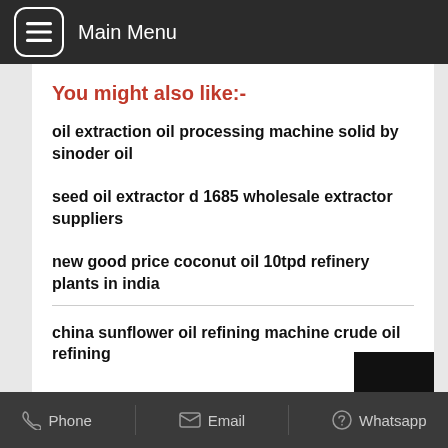Main Menu
You might also like:-
oil extraction oil processing machine solid by sinoder oil
seed oil extractor d 1685 wholesale extractor suppliers
new good price coconut oil 10tpd refinery plants in india
china sunflower oil refining machine crude oil refining
Phone   Email   Whatsapp